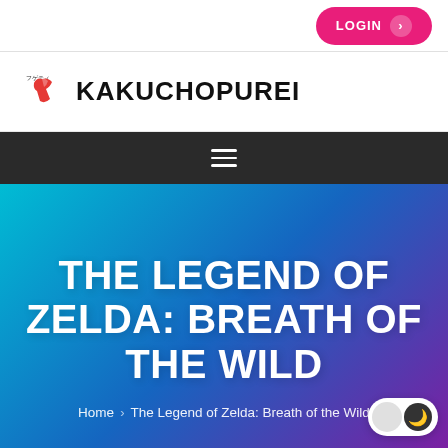LOGIN
[Figure (logo): Kakuchopurei logo: stylized red running figure icon with Japanese text, followed by bold black text KAKUCHOPUREI]
[Figure (other): Hamburger menu icon (three horizontal white lines) on dark background navigation bar]
THE LEGEND OF ZELDA: BREATH OF THE WILD
Home › The Legend of Zelda: Breath of the Wild